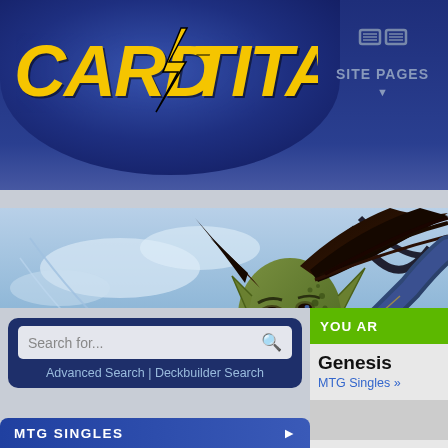[Figure (screenshot): CardTitan website screenshot showing logo with lightning bolt, SITE PAGES navigation button, a fantasy art banner of a green-skinned elf character, a search box with Advanced Search and Deckbuilder Search links, partial right panel with YOU ARE label and Genesis title, and MTG Singles navigation bar at bottom left]
CARD TITAN
SITE PAGES
Search for...
Advanced Search | Deckbuilder Search
YOU AR
Genesis
MTG Singles »
MTG SINGLES